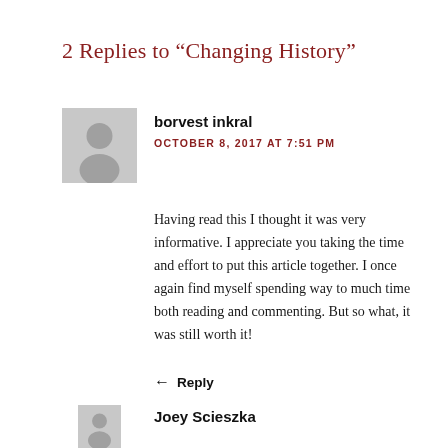2 Replies to “Changing History”
[Figure (illustration): Grey avatar placeholder icon for user borvest inkral]
borvest inkral
OCTOBER 8, 2017 AT 7:51 PM
Having read this I thought it was very informative. I appreciate you taking the time and effort to put this article together. I once again find myself spending way to much time both reading and commenting. But so what, it was still worth it!
Reply
[Figure (illustration): Grey avatar placeholder icon for user Joey Scieszka]
Joey Scieszka